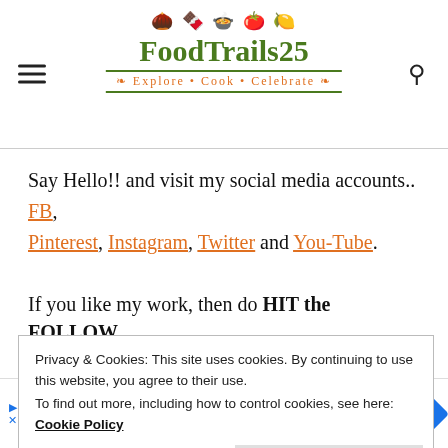[Figure (logo): FoodTrails25 logo with food icons, green and orange text, tagline 'Explore • Cook • Celebrate']
Say Hello!! and visit my social media accounts.. FB, Pinterest, Instagram, Twitter and You-Tube.
If you like my work, then do HIT the FOLLOW
Privacy & Cookies: This site uses cookies. By continuing to use this website, you agree to their use.
To find out more, including how to control cookies, see here: Cookie Policy
[Figure (screenshot): Ad banner for Crumbl Cookies - Ashburn with logo and blue diamond arrow]